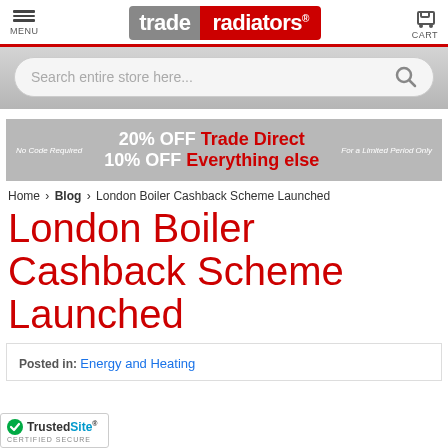MENU | trade radiators® | CART
[Figure (screenshot): Search bar with placeholder text 'Search entire store here...' and magnifying glass icon on grey gradient background]
[Figure (infographic): Promotional banner: No Code Required | 20% OFF Trade Direct / 10% OFF Everything else | For a Limited Period Only]
Home > Blog > London Boiler Cashback Scheme Launched
London Boiler Cashback Scheme Launched
Posted in: Energy and Heating